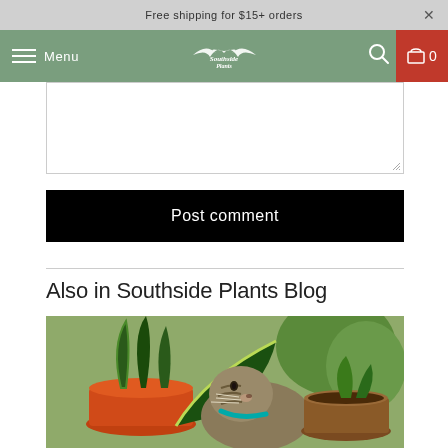Free shipping for $15+ orders
Menu | Southside Plants Logo | Search | Cart 0
[Figure (screenshot): Empty textarea/comment input box with resize handle at bottom-right]
Post comment
Also in Southside Plants Blog
[Figure (photo): A cat sniffing a snake plant (Sansevieria) in an orange pot, surrounded by other potted plants outdoors]